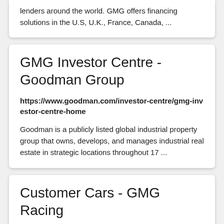lenders around the world. GMG offers financing solutions in the U.S, U.K., France, Canada, ...
GMG Investor Centre - Goodman Group
https://www.goodman.com/investor-centre/gmg-investor-centre-home
Goodman is a publicly listed global industrial property group that owns, develops, and manages industrial real estate in strategic locations throughout 17 ...
Customer Cars - GMG Racing
https://gmgracing.com/project/
Porsche 981 Cayman GT4. GMG Porsche GT4 – SALES